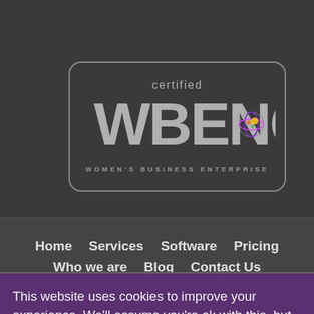[Figure (logo): Certified WBENC Women's Business Enterprise certification badge with rounded rectangle border, grey text and colorful globe icon]
Home   Services   Software   Pricing   Who we are   Blog   Contact Us
This website uses cookies to improve your experience. We'll assume you're ok with this, but you can opt-out if you wish.
Cookie settings   ACCEPT